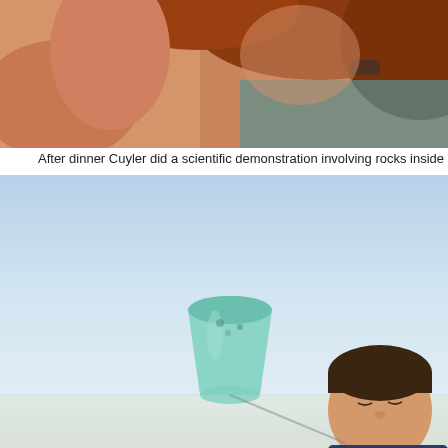[Figure (photo): Top portion of a photo showing a girl with long red hair wearing a teal top and a watch, outdoors in sunlight]
After dinner Cuyler did a scientific demonstration involving rocks inside a sa
[Figure (photo): Photo of a boy outdoors with a light blue/teal cup turned upside down, demonstrating centrifugal force. Text overlay reads 'demo: Centrifugal force' in dark blue and light blue. Background is a pale sky.]